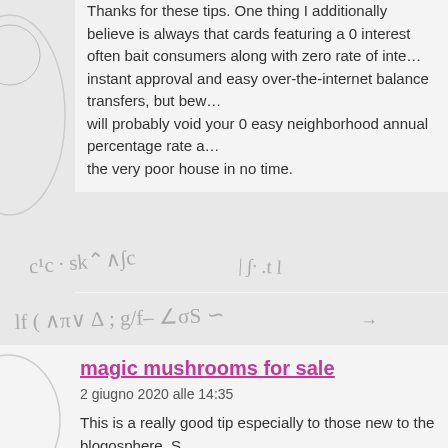Thanks for these tips. One thing I additionally believe is always that cards featuring a 0 interest often bait consumers along with zero rate of interest, instant approval and easy over-the-internet balance transfers, but beware that will probably void your 0 easy neighborhood annual percentage rate and also the very poor house in no time.
[Figure (other): CAPTCHA handwritten text verification image]
viagra porn
2 giugno 2020 alle 11:54
I have been checking out a few of your stories and i must say nice stuff. I will make sure to bookmark your blog.
[Figure (other): CAPTCHA handwritten text verification image]
magic mushrooms for sale
2 giugno 2020 alle 14:35
This is a really good tip especially to those new to the blogosphere. Short but very accurate information… Appreciate your sharing this one. A must read post!
[Figure (other): CAPTCHA handwritten text verification image]
dog behavior blog
2 giugno 2020 alle 19:23